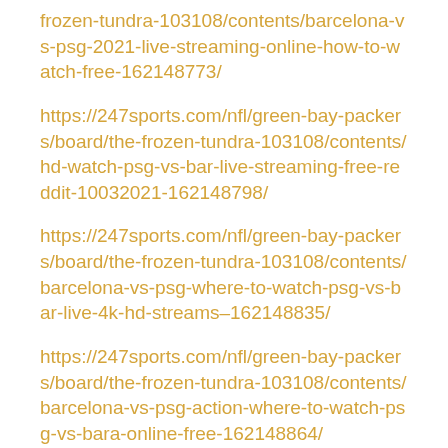frozen-tundra-103108/contents/barcelona-vs-psg-2021-live-streaming-online-how-to-watch-free-162148773/
https://247sports.com/nfl/green-bay-packers/board/the-frozen-tundra-103108/contents/hd-watch-psg-vs-bar-live-streaming-free-reddit-10032021-162148798/
https://247sports.com/nfl/green-bay-packers/board/the-frozen-tundra-103108/contents/barcelona-vs-psg-where-to-watch-psg-vs-bar-live-4k-hd-streams–162148835/
https://247sports.com/nfl/green-bay-packers/board/the-frozen-tundra-103108/contents/barcelona-vs-psg-action-where-to-watch-psg-vs-bara-online-free-162148864/
https://247sports.com/nfl/green-bay-packers/board/the-frozen-tundra-103108/contents/liverpool-vs-rb-leipzig-live-streaming-online-how-to-watch-free-162148773/